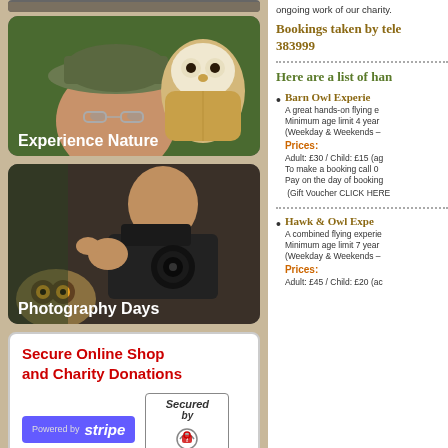[Figure (photo): Partial top strip of a previous photo]
[Figure (photo): Man with barn owl perched nearby, green outdoor background, labeled 'Experience Nature']
[Figure (photo): Photographer with large camera lens, owl in lower left corner, labeled 'Photography Days']
Secure Online Shop and Charity Donations — Powered by stripe — Secured by thawte
ongoing work of our charity.
Bookings taken by tele 383999
Here are a list of han
Barn Owl Experie — A great hands-on flying e Minimum age limit 4 year (Weekday & Weekends – Prices: Adult: £30 / Child: £15 (ag To make a booking call 0 Pay on the day of booking (Gift Voucher CLICK HERE
Hawk & Owl Expe — A combined flying experie Minimum age limit 7 year (Weekday & Weekends – Prices: Adult: £45 / Child: £20 (ac